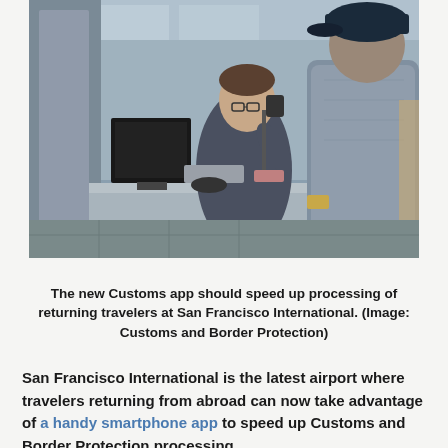[Figure (photo): A customs officer at a booth speaks with a returning traveler at San Francisco International Airport. The officer is seated behind a counter with a monitor, and the traveler wearing a baseball cap stands in front.]
The new Customs app should speed up processing of returning travelers at San Francisco International. (Image: Customs and Border Protection)
San Francisco International is the latest airport where travelers returning from abroad can now take advantage of a handy smartphone app to speed up Customs and Border Protection processing.